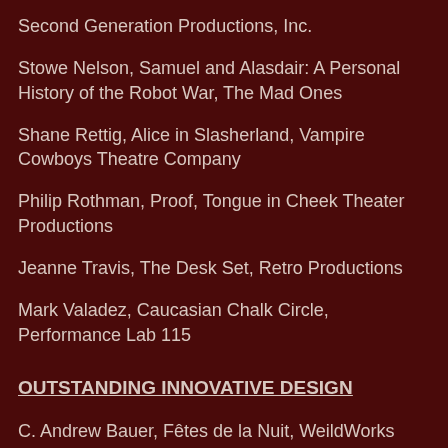Second Generation Productions, Inc.
Stowe Nelson, Samuel and Alasdair: A Personal History of the Robot War, The Mad Ones
Shane Rettig, Alice in Slasherland, Vampire Cowboys Theatre Company
Philip Rothman, Proof, Tongue in Cheek Theater Productions
Jeanne Travis, The Desk Set, Retro Productions
Mark Valadez, Caucasian Chalk Circle, Performance Lab 115
OUTSTANDING INNOVATIVE DESIGN
C. Andrew Bauer, Fêtes de la Nuit, WeildWorks
Daniel Brodie, The Tenement, The Associated Mask Ensemble